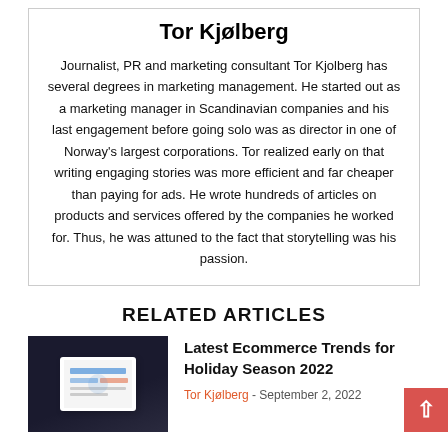Tor Kjølberg
Journalist, PR and marketing consultant Tor Kjolberg has several degrees in marketing management. He started out as a marketing manager in Scandinavian companies and his last engagement before going solo was as director in one of Norway's largest corporations. Tor realized early on that writing engaging stories was more efficient and far cheaper than paying for ads. He wrote hundreds of articles on products and services offered by the companies he worked for. Thus, he was attuned to the fact that storytelling was his passion.
RELATED ARTICLES
[Figure (photo): Thumbnail photo of a laptop/tablet showing a dashboard or analytics screen, on a dark background with a cup nearby]
Latest Ecommerce Trends for Holiday Season 2022
Tor Kjølberg - September 2, 2022